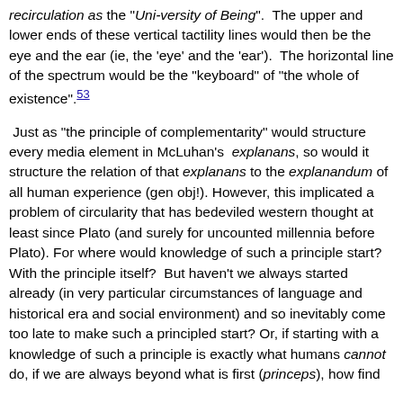recirculation as the "Uni-versity of Being". The upper and lower ends of these vertical tactility lines would then be the eye and the ear (ie, the 'eye' and the 'ear'). The horizontal line of the spectrum would be the "keyboard" of "the whole of existence".53
Just as "the principle of complementarity" would structure every media element in McLuhan's explanans, so would it structure the relation of that explanans to the explanandum of all human experience (gen obj!). However, this implicated a problem of circularity that has bedeviled western thought at least since Plato (and surely for uncounted millennia before Plato). For where would knowledge of such a principle start? With the principle itself? But haven't we always started already (in very particular circumstances of language and historical era and social environment) and so inevitably come too late to make such a principled start? Or, if starting with a knowledge of such a principle is exactly what humans cannot do, if we are always beyond what is first (princeps), how find